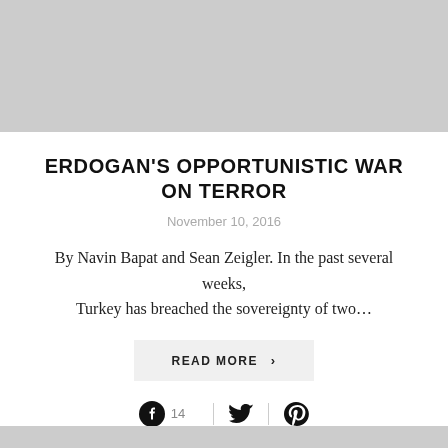[Figure (photo): Gray placeholder image at the top of the article card]
ERDOGAN'S OPPORTUNISTIC WAR ON TERROR
November 10, 2016
By Navin Bapat and Sean Zeigler. In the past several weeks, Turkey has breached the sovereignty of two…
READ MORE >
[Figure (infographic): Social share bar with Facebook icon and count 14, Twitter icon, and Pinterest icon]
[Figure (photo): Gray placeholder image at the bottom of the page]